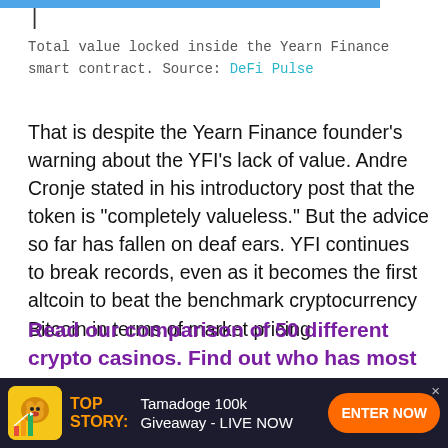Total value locked inside the Yearn Finance smart contract. Source: DeFi Pulse
That is despite the Yearn Finance founder's warning about the YFI's lack of value. Andre Cronje stated in his introductory post that the token is “completely valueless.” But the advice so far has fallen on deaf ears. YFI continues to break records, even as it becomes the first altcoin to beat the benchmark cryptocurrency Bitcoin in terms of market pricing.
Read our comparison of 50 different crypto casinos. Find out who has most generous bonuses,
This website uses cookies. By continuing to use this website
TOP STORY: Tamadoge 100k Giveaway - LIVE NOW ENTER NOW